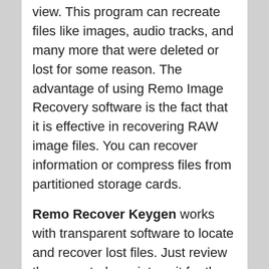view. This program can recreate files like images, audio tracks, and many more that were deleted or lost for some reason. The advantage of using Remo Image Recovery software is the fact that it is effective in recovering RAW image files. You can recover information or compress files from partitioned storage cards.
Remo Recover Keygen works with transparent software to locate and recover lost files. Just review the expected receipt, wait for the scan to complete, and choose the information to retrieve. The program works on equal central drives to replace accidentally deleted data or emptied recycle bins, along with external drives such as USB that remain divided or overwritten. Furthermore, Remo Recover Crack enables an